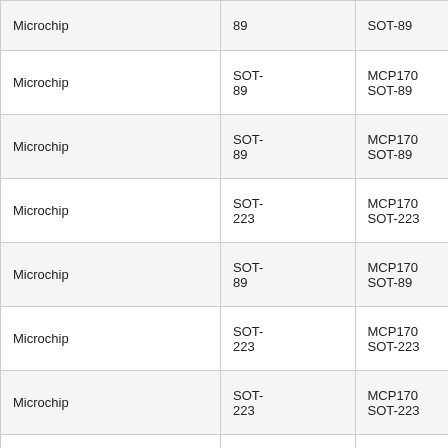| Manufacturer | Package | Part Number |
| --- | --- | --- |
| Microchip | 89 | SOT-89 |
| Microchip | SOT-89 | MCP170 SOT-89 |
| Microchip | SOT-89 | MCP170 SOT-89 |
| Microchip | SOT-223 | MCP170 SOT-223 |
| Microchip | SOT-89 | MCP170 SOT-89 |
| Microchip | SOT-223 | MCP170 SOT-223 |
| Microchip | SOT-223 | MCP170 SOT-223 |
|  | SOT-… | TS44… |